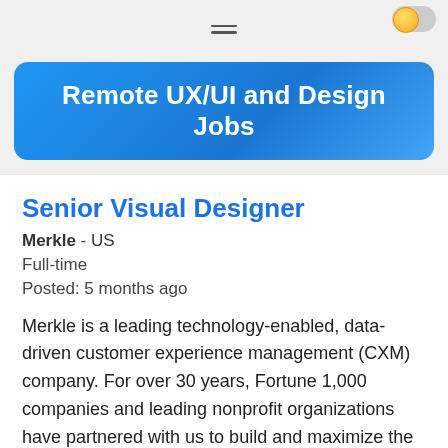[Figure (other): Hamburger menu icon (three horizontal lines) centered at top of page, and a toggle switch with a sun/yellow icon in the top right corner]
Remote UX/UI and Design Jobs
Senior Visual Designer
Merkle - US
Full-time
Posted: 5 months ago
Merkle is a leading technology-enabled, data-driven customer experience management (CXM) company. For over 30 years, Fortune 1,000 companies and leading nonprofit organizations have partnered with us to build and maximize the value of their customer portfolios. We are champions for meaningful progress, and we aim to be a force for good—